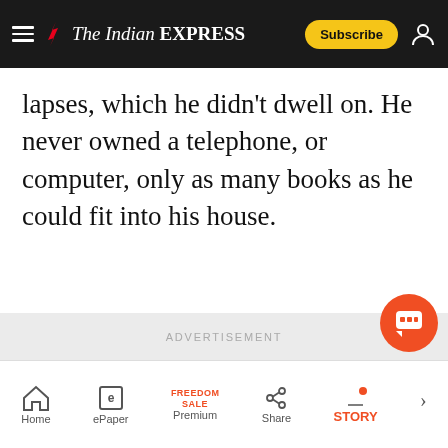The Indian Express — Subscribe
lapses, which he didn't dwell on. He never owned a telephone, or computer, only as many books as he could fit into his house.
[Figure (other): Advertisement placeholder area with light gray background and 'ADVERTISEMENT' label]
Home | ePaper | Premium (Freedom Sale) | Share | Story